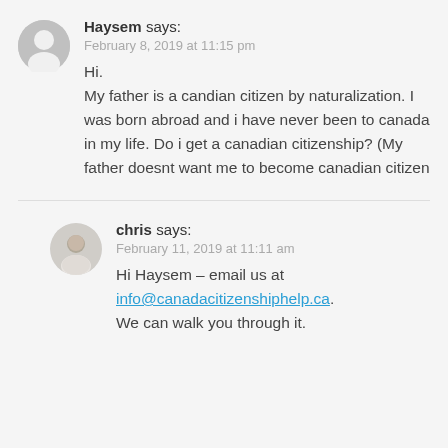Haysem says:
February 8, 2019 at 11:15 pm
Hi.
My father is a candian citizen by naturalization. I was born abroad and i have never been to canada in my life. Do i get a canadian citizenship? (My father doesnt want me to become canadian citizen
chris says:
February 11, 2019 at 11:11 am
Hi Haysem – email us at info@canadacitizenshiphelp.ca. We can walk you through it.